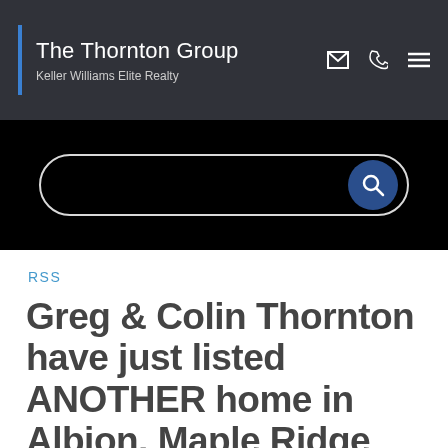The Thornton Group | Keller Williams Elite Realty
[Figure (screenshot): Black search bar with rounded rectangle outline and dark blue circular search button on right]
RSS
Greg & Colin Thornton have just listed ANOTHER home in Albion, Maple Ridge